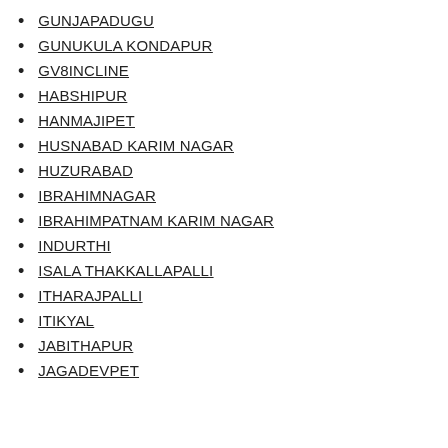GUNJAPADUGU
GUNUKULA KONDAPUR
GV8INCLINE
HABSHIPUR
HANMAJIPET
HUSNABAD KARIM NAGAR
HUZURABAD
IBRAHIMNAGAR
IBRAHIMPATNAM KARIM NAGAR
INDURTHI
ISALA THAKKALLAPALLI
ITHARAJPALLI
ITIKYAL
JABITHAPUR
JAGADEVPET